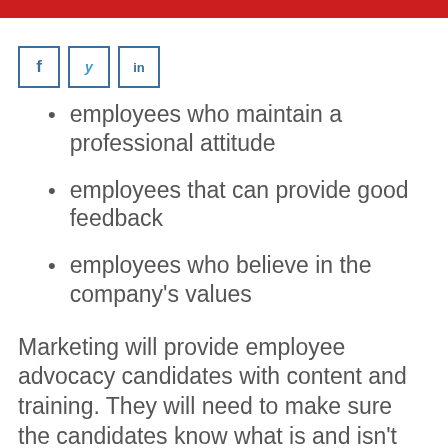media
[Figure (other): Social media share icons: Facebook (f), Twitter (bird), LinkedIn (in)]
employees who maintain a professional attitude
employees that can provide good feedback
employees who believe in the company's values
Marketing will provide employee advocacy candidates with content and training. They will need to make sure the candidates know what is and isn't okay to post. They need to coach them on when the best times are to post and which